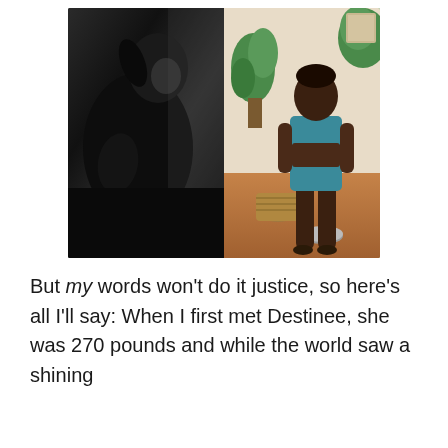[Figure (photo): Split image: left side is a black-and-white photo of a person sitting/hugging themselves, right side is a color photo of a woman standing in a teal/blue bikini set in a room with plants and hardwood floors]
But my words won't do it justice, so here's all I'll say: When I first met Destinee, she was 270 pounds and while the world saw a shining